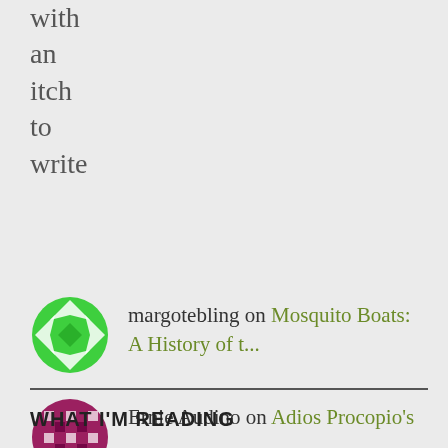with an itch to write
margotebling on Mosquito Boats: A History of t...
Ernie Audino on Adios Procopio's
WHAT I'M READING